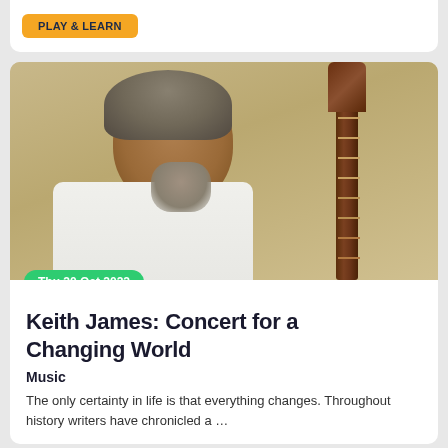[Figure (other): Orange/yellow play button stub at top of page]
[Figure (photo): Portrait photo of middle-aged man with curly grey hair and beard, wearing a white shirt, holding a classical guitar neck over his shoulder. Warm beige/tan background.]
Thu 20 Oct 2022
Keith James: Concert for a Changing World
Music
The only certainty in life is that everything changes. Throughout history writers have chronicled a …